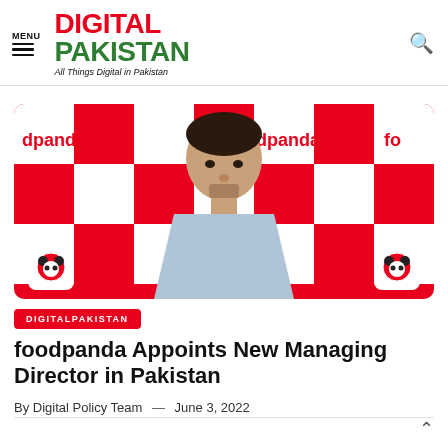MENU | DIGITAL PAKISTAN — All Things Digital in Pakistan
[Figure (photo): Man standing in front of a red and white foodpanda branded backdrop, looking forward. The backdrop shows the foodpanda logo and name repeated across the background.]
DIGITALPAKISTAN
foodpanda Appoints New Managing Director in Pakistan
By Digital Policy Team — June 3, 2022